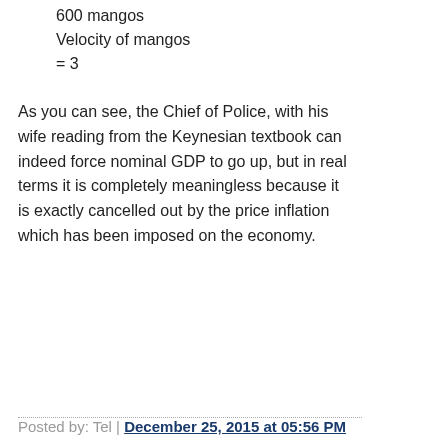600 mangos
Velocity of mangos
= 3
As you can see, the Chief of Police, with his wife reading from the Keynesian textbook can indeed force nominal GDP to go up, but in real terms it is completely meaningless because it is exactly cancelled out by the price inflation which has been imposed on the economy.
Posted by: Tel | December 25, 2015 at 05:56 PM
I also loved this paragraph: